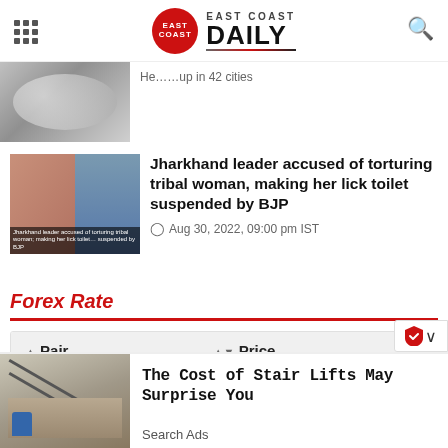East Coast Daily — logo header with hamburger menu and search icon
[Figure (photo): Partial news thumbnail showing coins, top of page]
[Figure (photo): News image: Jharkhand leader accused of torturing tribal woman, making her lick toilet suspended by BJP — shows two women]
Jharkhand leader accused of torturing tribal woman, making her lick toilet suspended by BJP
Aug 30, 2022, 09:00 pm IST
Forex Rate
| Pair | Price |
| --- | --- |
[Figure (photo): Advertisement: stair lift image]
The Cost of Stair Lifts May Surprise You
Search Ads